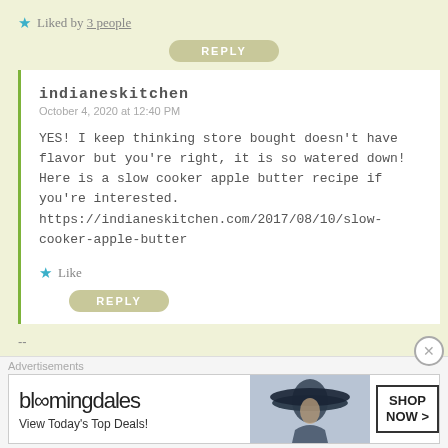★ Liked by 3 people
REPLY
indianeskitchen
October 4, 2020 at 12:40 PM
YES! I keep thinking store bought doesn't have flavor but you're right, it is so watered down! Here is a slow cooker apple butter recipe if you're interested. https://indianeskitchen.com/2017/08/10/slow-cooker-apple-butter
★ Like
REPLY
--
Advertisements
[Figure (other): Bloomingdale's advertisement banner with logo, 'View Today's Top Deals!' tagline, woman in large hat image, and 'SHOP NOW >' button]